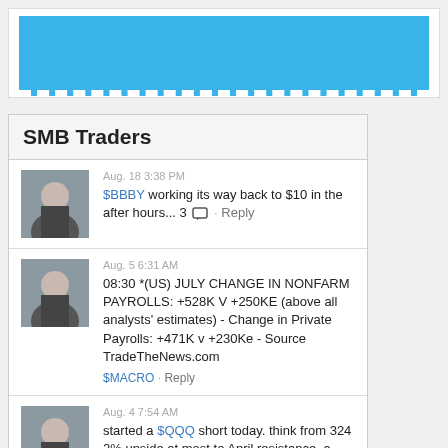[Figure (other): Blue advertisement banner placeholder at top of page]
SMB Traders
Aug. 18 3:38 PM
$BBBY working its way back to $10 in the after hours... 3 [comment icon] · Reply
Aug. 5 6:31 AM
08:30 *(US) JULY CHANGE IN NONFARM PAYROLLS: +528K V +250KE (above all analysts' estimates) - Change in Private Payrolls: +471K v +230Ke - Source TradeTheNews.com
$MACRO · Reply
Aug. 4 7:54 AM
started a $QQQ short today. think from 324 2% upside at most to April resistance. a close below 320 today